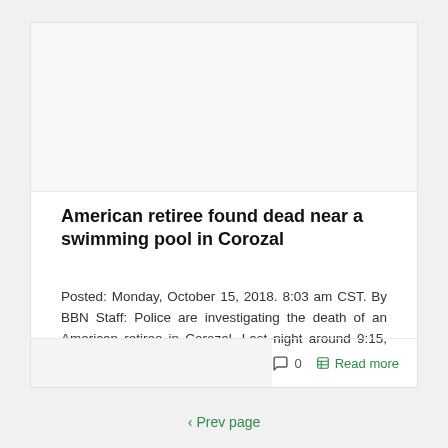[Figure (photo): Image placeholder area for article photo]
American retiree found dead near a swimming pool in Corozal
Posted: Monday, October 15, 2018. 8:03 am CST. By BBN Staff: Police are investigating the death of an American retiree in Corozal. Last night around 9:15, police [...]
0   Read more
‹ Prev page